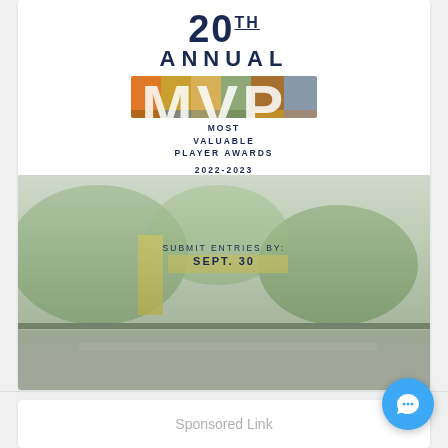20TH ANNUAL MVP MOST VALUABLE PLAYER AWARDS 2022-2023
[Figure (illustration): 20th Annual MVP Most Valuable Player Awards 2022-2023 poster with colorful photo-collage MVP lettering and outdoor background scene. Submit Entries By: Sept. 30]
Sponsored Link